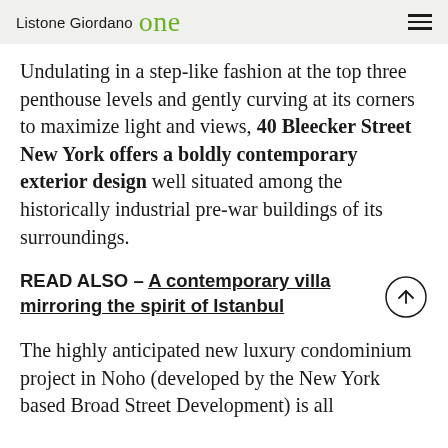Listone Giordano one
Undulating in a step-like fashion at the top three penthouse levels and gently curving at its corners to maximize light and views, 40 Bleecker Street New York offers a boldly contemporary exterior design well situated among the historically industrial pre-war buildings of its surroundings.
READ ALSO – A contemporary villa mirroring the spirit of Istanbul
The highly anticipated new luxury condominium project in Noho (developed by the New York based Broad Street Development) is all